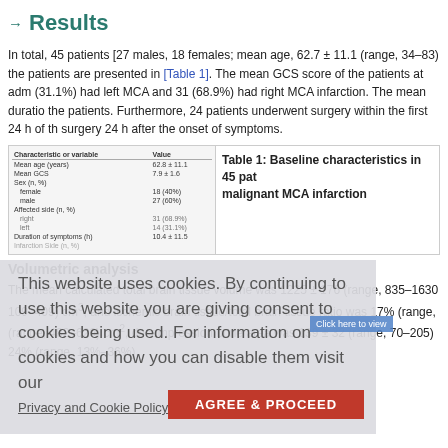Results
In total, 45 patients [27 males, 18 females; mean age, 62.7 ± 11.1 (range, 34–83) the patients are presented in [Table 1]. The mean GCS score of the patients at adm (31.1%) had left MCA and 31 (68.9%) had right MCA infarction. The mean duratio the patients. Furthermore, 24 patients underwent surgery within the first 24 h of th surgery 24 h after the onset of symptoms.
| Characteristic or variable | Value |
| --- | --- |
| Mean age (years) | 62.8 ± 11.1 |
| Mean GCS | 7.9 ± 1.6 |
| Sex (n, %) |  |
| female | 18 (40%) |
| male | 27 (60%) |
| Affected side (n, %) |  |
| right | 31 (68.9%) |
| left | 14 (31.1%) |
| Duration of symptoms (h) | 10.4 ± 11.5 |
Table 1: Baseline characteristics in 45 patients with malignant MCA infarction
Volumetric analysis
The mean calculated total brain tissue volume was 1225 ± 176 (range, 835–1630 109–409) cm³, and ischemic brain tissue/total brain tissue ratio was 17% (range, (range, 482–629) cm², decompression bone area was 139 ± 32 (range, 70–205) 24% (range, 13%–36%).